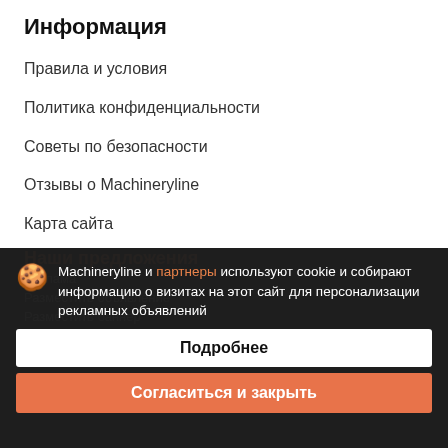Информация
Правила и условия
Политика конфиденциальности
Советы по безопасности
Отзывы о Machineryline
Карта сайта
Наши предложения
Реклама
Разместить объявление
Разместить баннер
Machineryline и партнеры используют cookie и собирают информацию о визитах на этот сайт для персонализации рекламных объявлений
Подробнее
Согласиться и закрыть